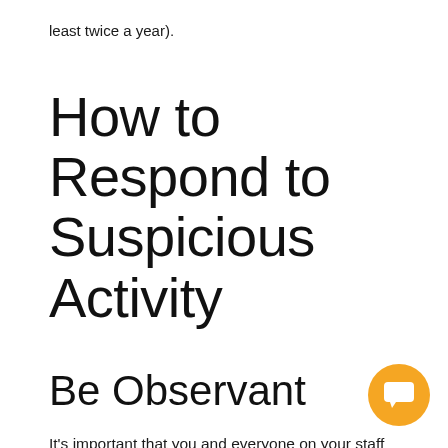least twice a year).
How to Respond to Suspicious Activity
Be Observant
It’s important that you and everyone on your staff take an observant posture at the office, especially if your office is open to the public. It’s important that you and your staff are on the lookout for any